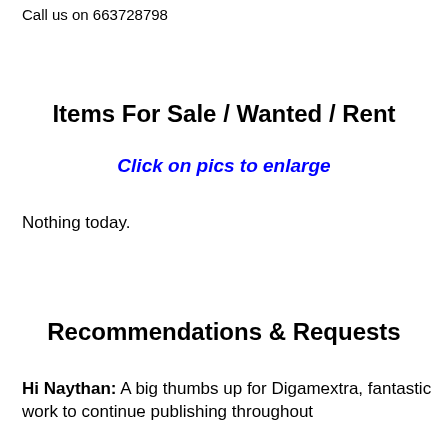Call us on 663728798
Items For Sale / Wanted / Rent
Click on pics to enlarge
Nothing today.
Recommendations & Requests
Hi Naythan: A big thumbs up for Digamextra, fantastic work to continue publishing throughout